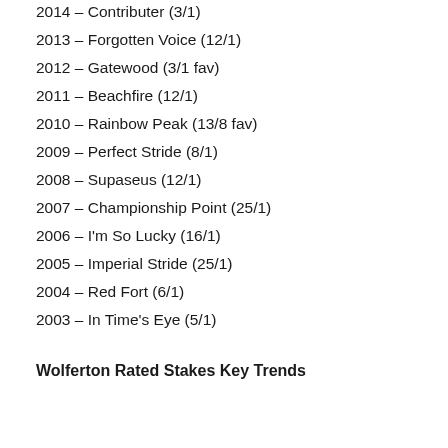2014 – Contributer (3/1)
2013 – Forgotten Voice (12/1)
2012 – Gatewood (3/1 fav)
2011 – Beachfire (12/1)
2010 – Rainbow Peak (13/8 fav)
2009 – Perfect Stride (8/1)
2008 – Supaseus (12/1)
2007 – Championship Point (25/1)
2006 – I'm So Lucky (16/1)
2005 – Imperial Stride (25/1)
2004 – Red Fort (6/1)
2003 – In Time's Eye (5/1)
Wolferton Rated Stakes Key Trends